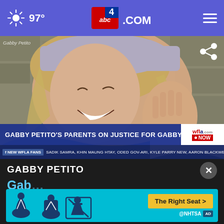97° abc4.com
[Figure (photo): Smiling young blonde woman wearing a light hat, hand raised to face, with stone wall background. News broadcast screenshot from WFLA NOW showing 'GABBY PETITO'S PARENTS ON JUSTICE FOR GABBY, FOUNDATION' lower-third headline. Ticker bar with Facebook fans and names scrolling.]
GABBY PETITO
Gab... WFL... NOW to talk about...
[Figure (infographic): NHTSA car seat safety advertisement banner with cyan background, car seat icons, and 'The Right Seat >' yellow CTA button.]